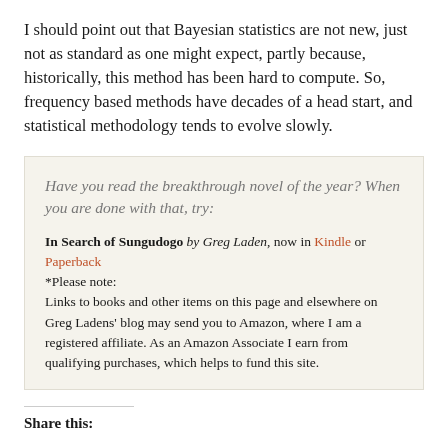I should point out that Bayesian statistics are not new, just not as standard as one might expect, partly because, historically, this method has been hard to compute. So, frequency based methods have decades of a head start, and statistical methodology tends to evolve slowly.
Have you read the breakthrough novel of the year? When you are done with that, try:
In Search of Sungudogo by Greg Laden, now in Kindle or Paperback
*Please note:
Links to books and other items on this page and elsewhere on Greg Ladens' blog may send you to Amazon, where I am a registered affiliate. As an Amazon Associate I earn from qualifying purchases, which helps to fund this site.
Share this: